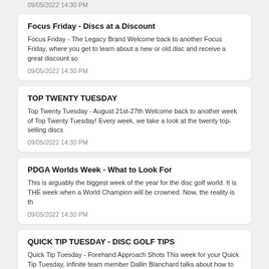09/05/2022 14:30 PM
Focus Friday - Discs at a Discount
Focus Friday - The Legacy Brand Welcome back to another Focus Friday, where you get to learn about a new or old disc and receive a great discount so
09/05/2022 14:30 PM
TOP TWENTY TUESDAY
Top Twenty Tuesday - August 21st-27th Welcome back to another week of Top Twenty Tuesday! Every week, we take a look at the twenty top-selling discs
09/05/2022 14:30 PM
PDGA Worlds Week - What to Look For
This is arguably the biggest week of the year for the disc golf world. It is THE week when a World Champion will be crowned. Now, the reality is th
09/05/2022 14:30 PM
QUICK TIP TUESDAY - DISC GOLF TIPS
Quick Tip Tuesday - Forehand Approach Shots  This week for your Quick Tip Tuesday, Infinite team member Dallin Blanchard talks about how to ex
09/05/2022 14:30 PM